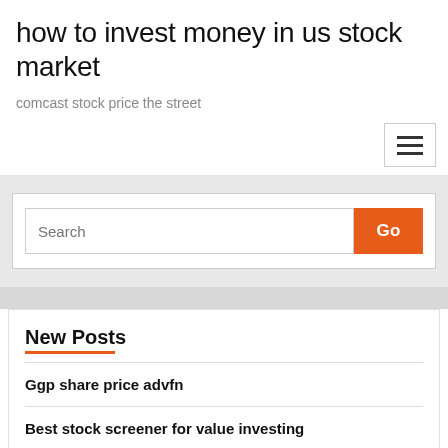how to invest money in us stock market
comcast stock price the street
[Figure (other): Hamburger menu button with three horizontal lines]
[Figure (other): Search bar with text input and orange Go button]
New Posts
Ggp share price advfn
Best stock screener for value investing
Successful trader habits
Tradingview screener crypto